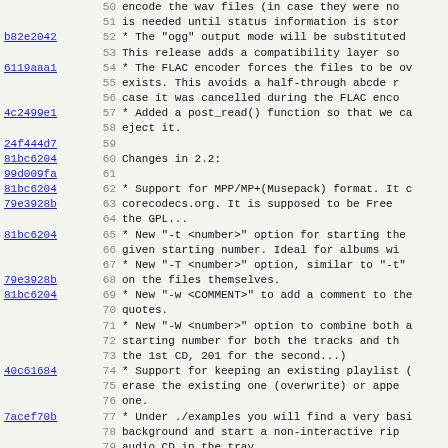| commit | line | code |
| --- | --- | --- |
|  | 50 |     encode the wav files (in case they were no |
|  | 51 |     is needed until status information is stor |
| b82e2042 | 52 | * The "ogg" output mode will be substituted |
|  | 53 |     This release adds a compatibility layer so |
| 6119aaa1 | 54 | * The FLAC encoder forces the files to be ov |
|  | 55 |     exists. This avoids a half-through abcde r |
|  | 56 |     case it was cancelled during the FLAC enco |
| 4c2499e1 | 57 | * Added a post_read() function so that we ca |
|  | 58 |     eject it. |
| 24f444d7 | 59 |  |
| 81bc6204 | 60 | Changes in 2.2: |
| 99d009fa | 61 |  |
| 81bc6204 | 62 | * Support for MPP/MP+(Musepack) format. It c |
| 79e3928b | 63 |     corecodecs.org. It is supposed to be Free |
|  | 64 |     the GPL... |
| 81bc6204 | 65 | * New "-t <number>" option for starting the |
|  | 66 |     given starting number. Ideal for albums wi |
|  | 67 | * New "-T <number>" option, similar to "-t" |
| 79e3928b | 68 |     on the files themselves. |
| 81bc6204 | 69 | * New "-w <COMMENT>" to add a comment to the |
|  | 70 |     quotes. |
|  | 71 | * New "-W <number>" option to combine both a |
|  | 72 |     starting number for both the tracks and th |
|  | 73 |     the 1st CD, 201 for the second...) |
| 40c61684 | 74 | * Support for keeping an existing playlist ( |
|  | 75 |     erase the existing one (overwrite) or appe |
|  | 76 |     one. |
| 7acef70b | 77 | * Under ./examples you will find a very basi |
|  | 78 |     background and start a non-interactive rip |
|  | 79 |     audio CD in the tray. |
|  | 80 |     The abcded script depends on eject and cdp |
|  | 81 |     system. |
|  | 82 | * New mungegenre function to switch off (or |